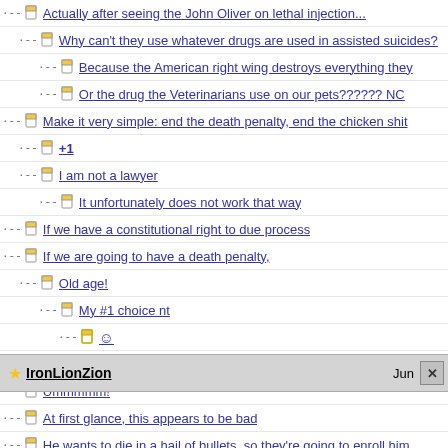Actually after seeing the John Oliver on lethal injection...
Why can't they use whatever drugs are used in assisted suicides?
Because the American right wing destroys everything they
Or the drug the Veterinarians use on our pets?????? NC
Make it very simple: end the death penalty, end the chicken shit
+1
I am not a lawyer
It unfortunately does not work that way
If we have a constitutional right to due process
If we are going to have a death penalty,
Old age!
My #1 choice nt
@
The well regulated militia should jump at the chance, could be a
Ummmmm!
At first glance, this appears to be bad
He wants to die in a hail of bullets, so they're going to enroll him in an
Of course
IronLionZion   Jun